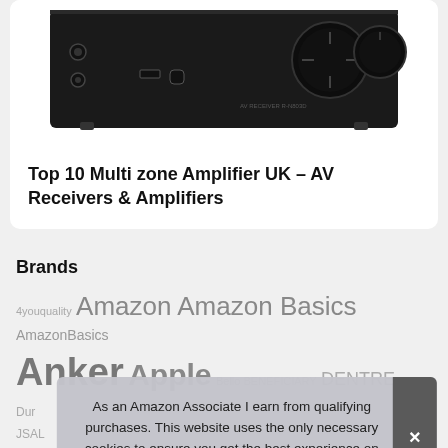[Figure (photo): Top portion of a black AV receiver/amplifier showing control knobs and ports on the front panel, on white background inside a card]
Top 10 Multi zone Amplifier UK – AV Receivers & Amplifiers
Brands
4youquality Amazon Amazon Basics AmazonBasics Anker Apple Bello BENEFICIARY DENTRE Dur JSAL MAJ Samsung Sandisk Aliilalis Sony Spigen
As an Amazon Associate I earn from qualifying purchases. This website uses the only necessary cookies to ensure you get the best experience on our website. More information